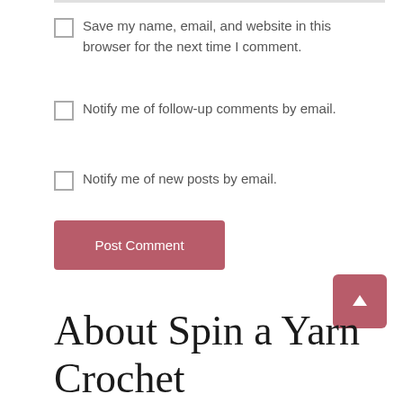Save my name, email, and website in this browser for the next time I comment.
Notify me of follow-up comments by email.
Notify me of new posts by email.
Post Comment
About Spin a Yarn Crochet